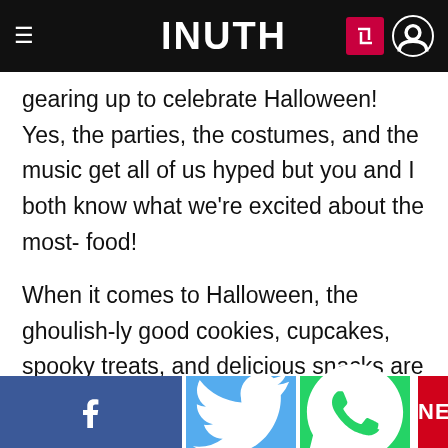INUTH
gearing up to celebrate Halloween! Yes, the parties, the costumes, and the music get all of us hyped but you and I both know what we're excited about the most- food!
When it comes to Halloween, the ghoulish-ly good cookies, cupcakes, spooky treats, and delicious snacks are the LIFE of the party. People are always trying to add eerie twists to the traditional Halloween treats and it's no different this year. Want to treat your guests to a spooktacular feast? Let Instagram give you some inspiration!